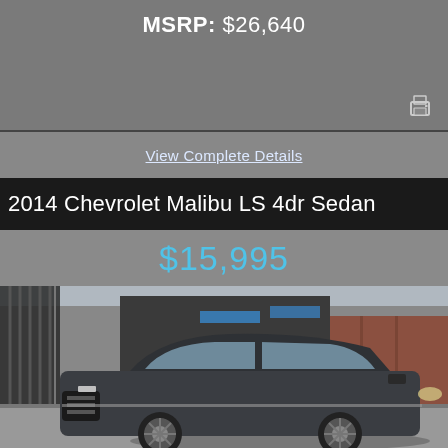MSRP: $26,640
View Complete Details
2014 Chevrolet Malibu LS 4dr Sedan
$15,995
[Figure (photo): 2014 Chevrolet Malibu LS 4dr Sedan, dark gray/charcoal color, photographed in a used car lot with iron fence and brick building in background.]